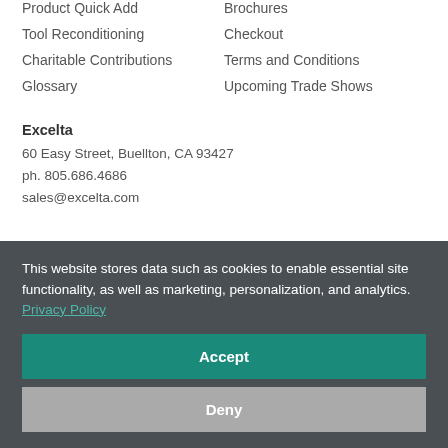Product Quick Add
Tool Reconditioning
Charitable Contributions
Glossary
Brochures
Checkout
Terms and Conditions
Upcoming Trade Shows
Excelta
60 Easy Street, Buellton, CA 93427
ph. 805.686.4686
sales@excelta.com
This website stores data such as cookies to enable essential site functionality, as well as marketing, personalization, and analytics. Privacy Policy
Accept
Deny